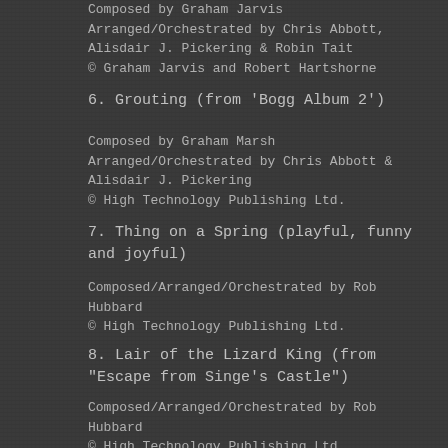Composed by Graham Jarvis
Arranged/Orchestrated by Chris Abbott, Alisdair J. Pickering & Robin Tait
© Graham Jarvis and Robert Hartshorne
6. Grouting (from 'Bogg Album 2')
Composed by Graham Marsh
Arranged/Orchestrated by Chris Abbott & Alisdair J. Pickering
© High Technology Publishing Ltd.
7. Thing on a Spring (playful, funny and joyful)
Composed/Arranged/Orchestrated by Rob Hubbard
© High Technology Publishing Ltd.
8. Lair of the Lizard King (from "Escape from Singe's Castle")
Composed/Arranged/Orchestrated by Rob Hubbard
© High Technology Publishing Ltd.